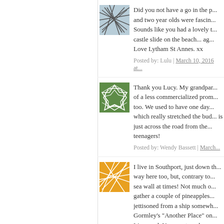Did you not have a go in the p... and two year olds were fascin... Sounds like you had a lovely t... castle slide on the beach... ag... Love Lytham St Annes. xx
Posted by: Lulu | March 10, 2016 at...
Thank you Lucy. My grandpar... of a less commercialized prom... too. We used to have one day... which really stretched the bud... is just across the road from the... teenagers!
Posted by: Wendy Bassett | March...
I live in Southport, just down th... way here too, but, contrary to... sea wall at times! Not much o... gather a couple of pineapples... jettisoned from a ship somewh... Gormley's "Another Place" on... Liverpool. Your post made me... really!